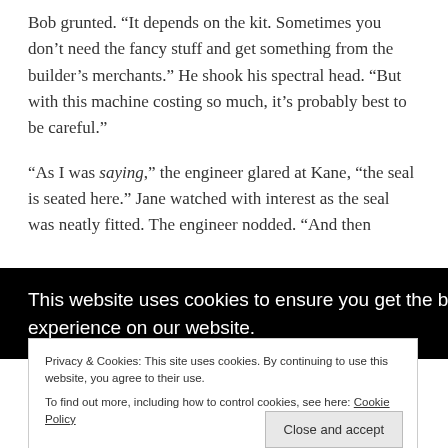Bob grunted. “It depends on the kit. Sometimes you don’t need the fancy stuff and get something from the builder’s merchants.” He shook his spectral head. “But with this machine costing so much, it’s probably best to be careful.”
“As I was saying,” the engineer glared at Kane, “the seal is seated here.” Jane watched with interest as the seal was neatly fitted. The engineer nodded. “And then
This website uses cookies to ensure you get the best experience on our website.
Privacy & Cookies: This site uses cookies. By continuing to use this website, you agree to their use.
To find out more, including how to control cookies, see here: Cookie Policy
Close and accept
The engineer shot Kane a suspicious look and looked